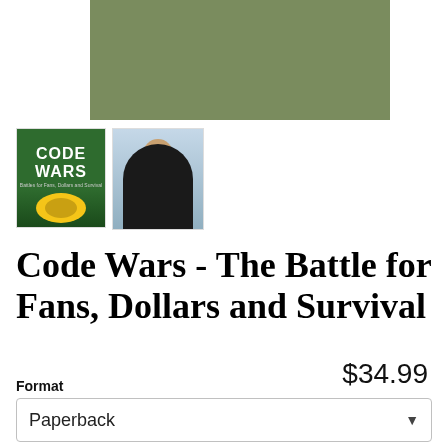[Figure (photo): Main product image area showing olive/sage green rectangle (book cover large preview)]
[Figure (photo): Thumbnail 1: Code Wars book cover with green background and yellow football, white bold text reading CODE WARS]
[Figure (photo): Thumbnail 2: Photo of a man in dark clothing seated at a desk with window in background]
Code Wars - The Battle for Fans, Dollars and Survival
$34.99
Format
Paperback